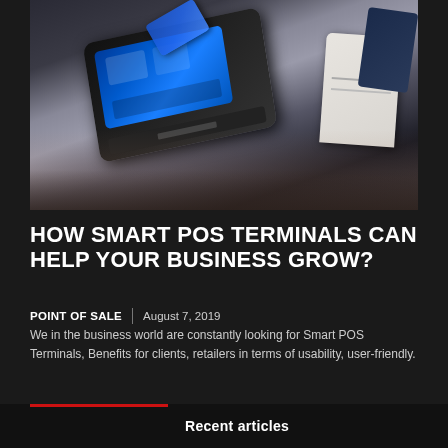[Figure (photo): Person holding a credit card over a smart POS terminal with blue touchscreen display, with a receipt printer visible in background]
HOW SMART POS TERMINALS CAN HELP YOUR BUSINESS GROW?
POINT OF SALE  |  August 7, 2019
We in the business world are constantly looking for Smart POS Terminals, Benefits for clients, retailers in terms of usability, user-friendly.
Recent articles